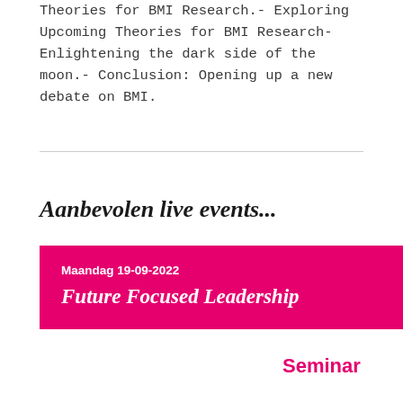Theories for BMI Research.- Exploring Upcoming Theories for BMI Research- Enlightening the dark side of the moon.- Conclusion: Opening up a new debate on BMI.
Aanbevolen live events...
Maandag 19-09-2022
Future Focused Leadership
Seminar